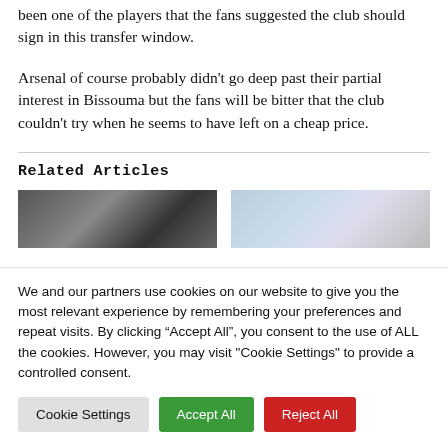been one of the players that the fans suggested the club should sign in this transfer window.
Arsenal of course probably didn’t go deep past their partial interest in Bissouma but the fans will be bitter that the club couldn’t try when he seems to have left on a cheap price.
Related Articles
[Figure (photo): Soccer player photo thumbnail]
[Figure (photo): Light-colored article thumbnail]
We and our partners use cookies on our website to give you the most relevant experience by remembering your preferences and repeat visits. By clicking “Accept All”, you consent to the use of ALL the cookies. However, you may visit "Cookie Settings" to provide a controlled consent.